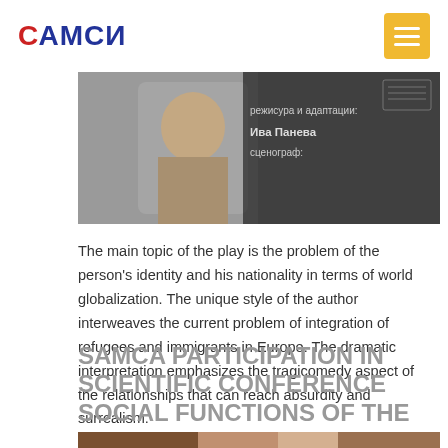САМСИ
[Figure (photo): Close-up photo of a person with Cyrillic text overlay reading 'режисура и адаптации: Ива Панева сценограф:']
The main topic of the play is the problem of the person's identity and his nationality in terms of world globalization. The unique style of the author interweaves the current problem of integration of refugees and immigrants in Europe. The dramatic interpretation emphasizes the tragicomedy aspect of the relationships that can reach absurdity and surrealism.
SAMCA PARTICIPATION IN SCIENTIFIC CONFERENCE SOCIAL FUNCTIONS OF THE MUSEUM IN XXI CENTURY
[Figure (photo): Partial bottom photo, appears to show museum or conference related imagery]